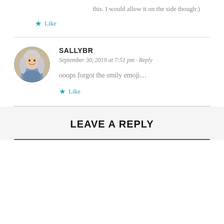this. I would allow it on the side though:)
Like
SALLYBR
September 30, 2019 at 7:51 pm · Reply
ooops forgot the smily emoji…
Like
LEAVE A REPLY